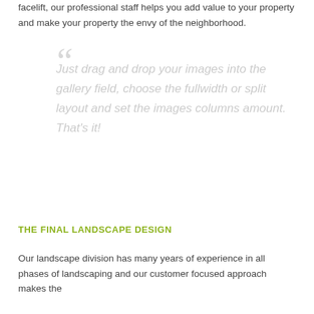facelift, our professional staff helps you add value to your property and make your property the envy of the neighborhood.
Just drag and drop your images into the gallery field, choose the fullwidth or split layout and set the images columns amount. That's it!
THE FINAL LANDSCAPE DESIGN
Our landscape division has many years of experience in all phases of landscaping and our customer focused approach makes the